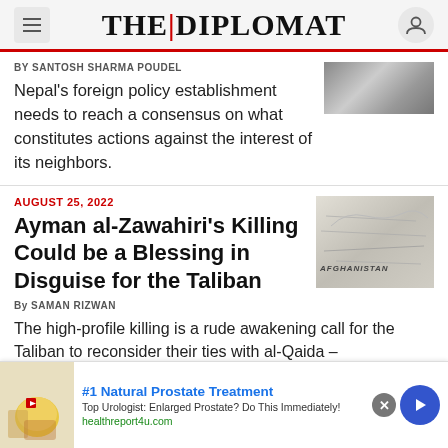THE DIPLOMAT
By SANTOSH SHARMA POUDEL
Nepal's foreign policy establishment needs to reach a consensus on what constitutes actions against the interest of its neighbors.
AUGUST 25, 2022
Ayman al-Zawahiri's Killing Could be a Blessing in Disguise for the Taliban
By SAMAN RIZWAN
[Figure (photo): Map of Afghanistan]
The high-profile killing is a rude awakening call for the Taliban to reconsider their ties with al-Qaida – and could empower less hardline elements of the
#1 Natural Prostate Treatment
Top Urologist: Enlarged Prostate? Do This Immediately!
healthreport4u.com